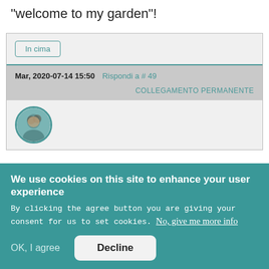"welcome to my garden"!
In cima
Mar, 2020-07-14 15:50  Rispondi a # 49
COLLEGAMENTO PERMANENTE
[Figure (photo): Circular avatar/profile photo with teal border]
We use cookies on this site to enhance your user experience
By clicking the agree button you are giving your consent for us to set cookies. No, give me more info
OK, I agree
Decline